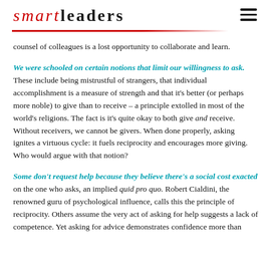smartleaders
counsel of colleagues is a lost opportunity to collaborate and learn.
We were schooled on certain notions that limit our willingness to ask. These include being mistrustful of strangers, that individual accomplishment is a measure of strength and that it’s better (or perhaps more noble) to give than to receive – a principle extolled in most of the world’s religions. The fact is it’s quite okay to both give and receive. Without receivers, we cannot be givers. When done properly, asking ignites a virtuous cycle: it fuels reciprocity and encourages more giving. Who would argue with that notion?
Some don’t request help because they believe there’s a social cost exacted on the one who asks, an implied quid pro quo. Robert Cialdini, the renowned guru of psychological influence, calls this the principle of reciprocity. Others assume the very act of asking for help suggests a lack of competence. Yet asking for advice demonstrates confidence more than